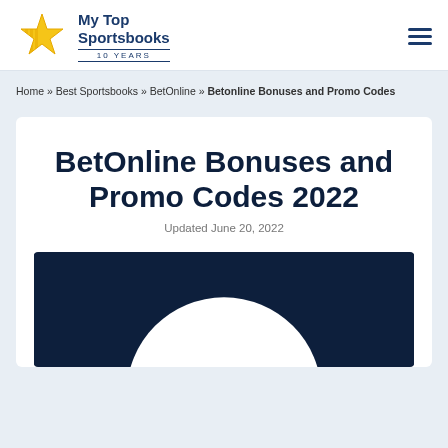My Top Sportsbooks — 10 YEARS
Home » Best Sportsbooks » BetOnline » Betonline Bonuses and Promo Codes
BetOnline Bonuses and Promo Codes 2022
Updated June 20, 2022
[Figure (illustration): Dark navy background with a large white circle partially visible at the bottom, representing a hero image for the BetOnline article.]